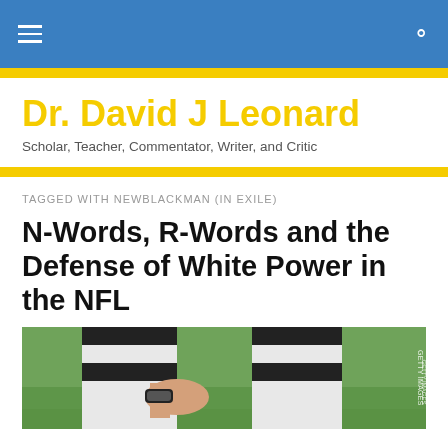Dr. David J Leonard — navigation bar
Dr. David J Leonard
Scholar, Teacher, Commentator, Writer, and Critic
TAGGED WITH NEWBLACKMAN (IN EXILE)
N-Words, R-Words and the Defense of White Power in the NFL
[Figure (photo): Close-up photo of a football referee's hand and lower legs in striped uniform, on grass field background]